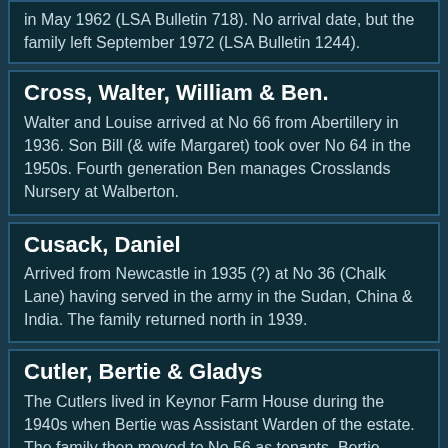in May 1962 (LSA Bulletin 718). No arrival date, but the family left September 1972 (LSA Bulletin 1244).
Cross, Walter, William & Ben.
Walter and Louise arrived at No 66 from Abertillery in 1936. Son Bill (& wife Margaret) took over No 64 in the 1950s. Fourth generation Ben manages Crosslands Nursery at Walberton.
Cusack, Daniel
Arrived from Newcastle in 1935 (?) at No 36 (Chalk Lane) having served in the army in the Sudan, China & India. The family returned north in 1939.
Cutler, Bertie & Gladys
The Cutlers lived in Keynor Farm House during the 1940s when Bertie was Assistant Warden of the estate. The family then moved to No 56 as tenants. Bertie retired in 1955 and son Dennis continued on the